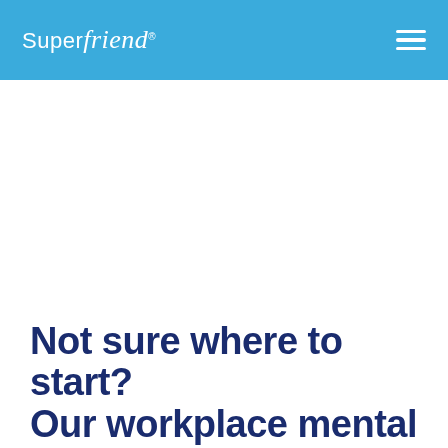SuperFriend
Not sure where to start? Our workplace mental